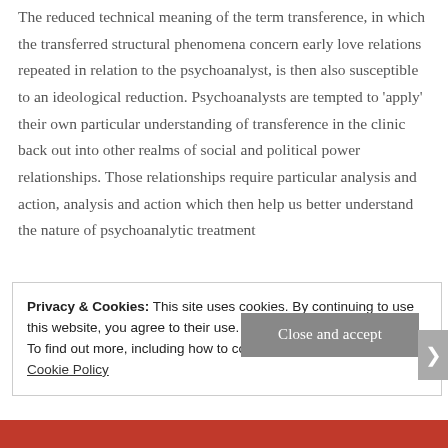The reduced technical meaning of the term transference, in which the transferred structural phenomena concern early love relations repeated in relation to the psychoanalyst, is then also susceptible to an ideological reduction. Psychoanalysts are tempted to 'apply' their own particular understanding of transference in the clinic back out into other realms of social and political power relationships. Those relationships require particular analysis and action, analysis and action which then help us better understand the nature of psychoanalytic treatment
Privacy & Cookies: This site uses cookies. By continuing to use this website, you agree to their use. To find out more, including how to control cookies, see here: Cookie Policy